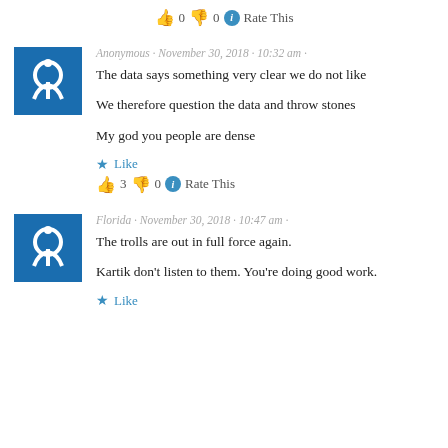👍 0 👎 0 ℹ Rate This
Anonymous · November 30, 2018 · 10:32 am ·
The data says something very clear we do not like

We therefore question the data and throw stones

My god you people are dense
★ Like
👍 3 👎 0 ℹ Rate This
Florida · November 30, 2018 · 10:47 am ·
The trolls are out in full force again.

Kartik don't listen to them. You're doing good work.
★ Like